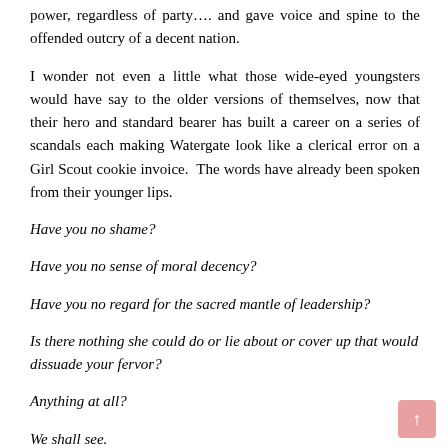power, regardless of party…. and gave voice and spine to the offended outcry of a decent nation.
I wonder not even a little what those wide-eyed youngsters would have say to the older versions of themselves, now that their hero and standard bearer has built a career on a series of scandals each making Watergate look like a clerical error on a Girl Scout cookie invoice.  The words have already been spoken from their younger lips.
Have you no shame?
Have you no sense of moral decency?
Have you no regard for the sacred mantle of leadership?
Is there nothing she could do or lie about or cover up that would dissuade your fervor?
Anything at all?
We shall see.